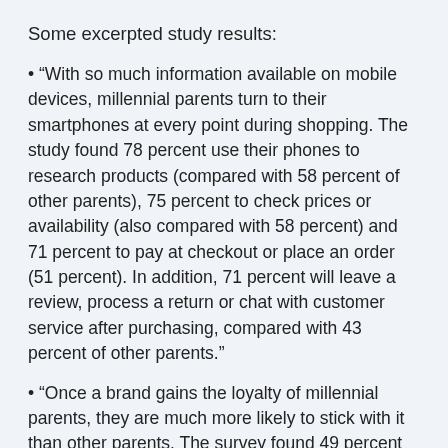Some excerpted study results:
“With so much information available on mobile devices, millennial parents turn to their smartphones at every point during shopping. The study found 78 percent use their phones to research products (compared with 58 percent of other parents), 75 percent to check prices or availability (also compared with 58 percent) and 71 percent to pay at checkout or place an order (51 percent). In addition, 71 percent will leave a review, process a return or chat with customer service after purchasing, compared with 43 percent of other parents.”
“Once a brand gains the loyalty of millennial parents, they are much more likely to stick with it than other parents. The survey found 49 percent remain loyal to a brand despite cheaper options, compared